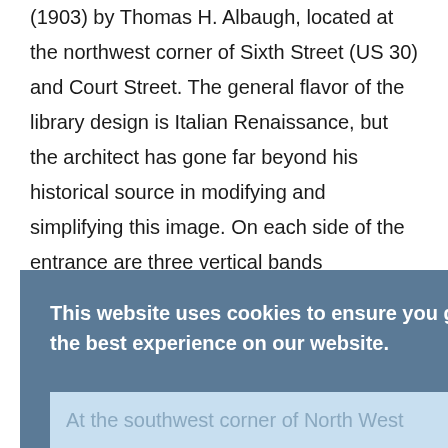(1903) by Thomas H. Albaugh, located at the northwest corner of Sixth Street (US 30) and Court Street. The general flavor of the library design is Italian Renaissance, but the architect has gone far beyond his historical source in modifying and simplifying this image. On each side of the entrance are three vertical bands containing windows; below each of these is a terracotta panel displaying an open book. A low-pitched hipped roof projects far out over the walls, holding the small box in place.
This website uses cookies to ensure you get the best experience on our website.
At the southwest corner of North West Street and West Fifth Avenue is the Chicago and Northwest Railroad Station (c. 1900).